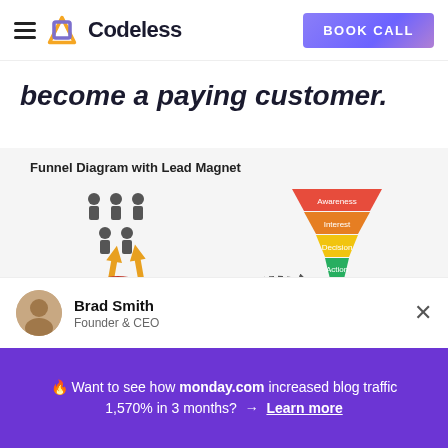Codeless | BOOK CALL
become a paying customer.
Funnel Diagram with Lead Magnet
[Figure (infographic): Funnel diagram with lead magnet. Left side shows a red horseshoe magnet with people icons above it and gold arrows pointing down toward the magnet. A dashed curved arrow connects the magnet to the right side. Right side shows a multi-layered funnel with layers: Awareness (red/orange), Interest (orange), Decision (yellow-green), Action (green/teal), with a target/bullseye icon below and a dollar sign with green bars at the bottom.]
Brad Smith
Founder & CEO
🔥 Want to see how monday.com increased blog traffic 1,570% in 3 months?  →  Learn more